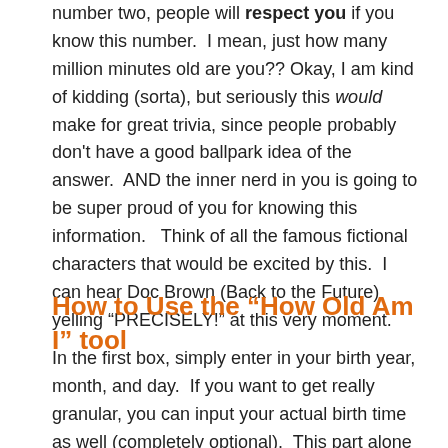number two, people will respect you if you know this number.  I mean, just how many million minutes old are you?? Okay, I am kind of kidding (sorta), but seriously this would make for great trivia, since people probably don't have a good ballpark idea of the answer.  AND the inner nerd in you is going to be super proud of you for knowing this information.   Think of all the famous fictional characters that would be excited by this.  I can hear Doc Brown (Back to the Future) yelling “PRECISELY!” at this very moment.
How to Use the “How Old Am I” tool
In the first box, simply enter in your birth year, month, and day.  If you want to get really granular, you can input your actual birth time as well (completely optional).  This part alone will give you your result in months, days, hours, minutes, and seconds.  All separately standing on their own.  Check out here https://hughesairco.com/.  The tool will also return your zodiac sign in case you didn’t know it, or in case